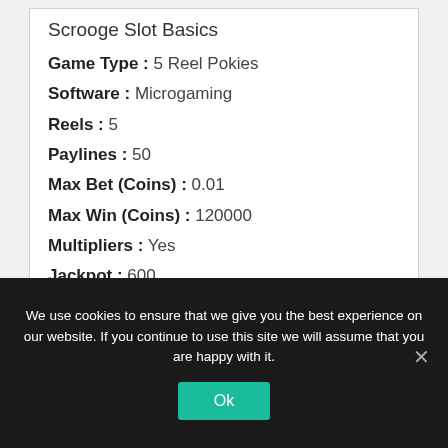Scrooge Slot Basics
Game Type : 5 Reel Pokies
Software : Microgaming
Reels : 5
Paylines : 50
Max Bet (Coins) : 0.01
Max Win (Coins) : 120000
Multipliers : Yes
Jackpot : 600
We use cookies to ensure that we give you the best experience on our website. If you continue to use this site we will assume that you are happy with it.